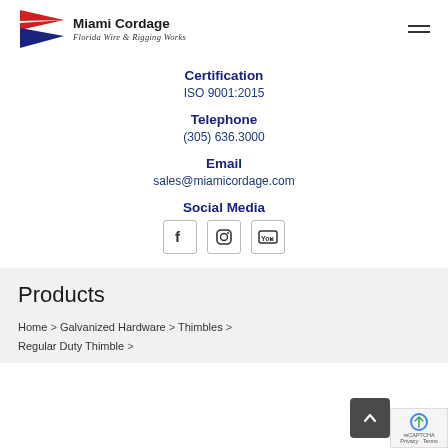[Figure (logo): Miami Cordage logo with red and blue pennant flag, company name 'Miami Cordage' and tagline 'Florida Wire & Rigging Works']
Certification
ISO 9001:2015
Telephone
(305) 636.3000
Email
sales@miamicordage.com
Social Media
[Figure (other): Social media icons: Facebook, Instagram, YouTube]
Products
Home > Galvanized Hardware > Thimbles > Regular Duty Thimble >